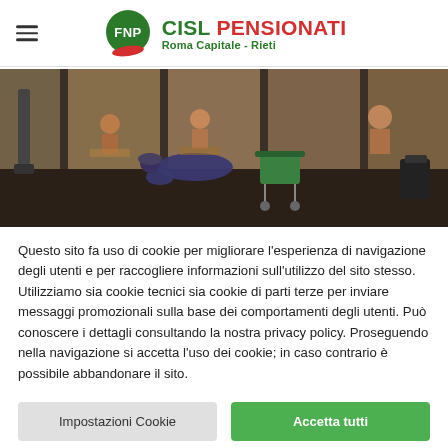FNP CISL PENSIONATI Roma Capitale - Rieti
[Figure (photo): A person hunched over a shopping cart outside a restaurant window where people are dining inside.]
Questo sito fa uso di cookie per migliorare l'esperienza di navigazione degli utenti e per raccogliere informazioni sull'utilizzo del sito stesso. Utilizziamo sia cookie tecnici sia cookie di parti terze per inviare messaggi promozionali sulla base dei comportamenti degli utenti. Può conoscere i dettagli consultando la nostra privacy policy. Proseguendo nella navigazione si accetta l'uso dei cookie; in caso contrario è possibile abbandonare il sito.
Impostazioni Cookie
Accetta tutti